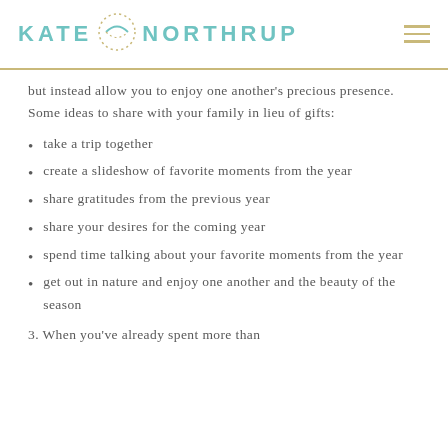KATE NORTHRUP
but instead allow you to enjoy one another's precious presence. Some ideas to share with your family in lieu of gifts:
take a trip together
create a slideshow of favorite moments from the year
share gratitudes from the previous year
share your desires for the coming year
spend time talking about your favorite moments from the year
get out in nature and enjoy one another and the beauty of the season
3. When you've already spent more than